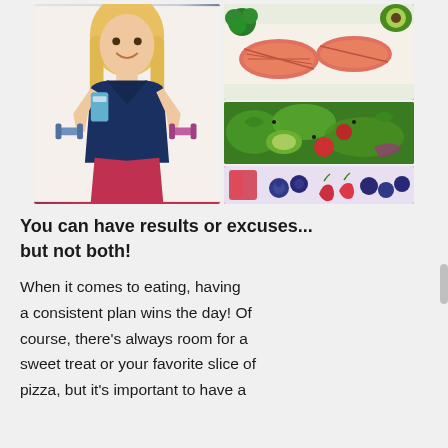[Figure (photo): Collage of two photos: left shows a smiling blonde woman in a navy tank top and red shorts holding purple dumbbells; right column shows three food photos: salmon with broccoli and avocado on top, a green salad with vegetables in the middle, and mixed berries at the bottom.]
You can have results or excuses... but not both!
When it comes to eating, having a consistent plan wins the day! Of course, there's always room for a sweet treat or your favorite slice of pizza, but it's important to have a